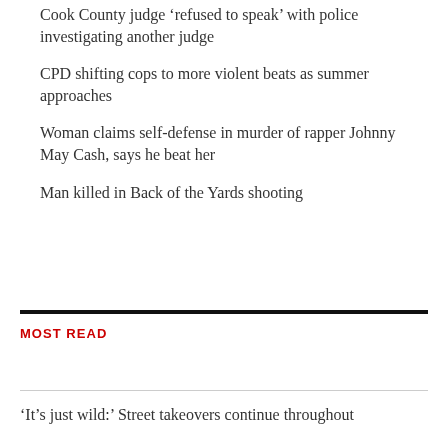Cook County judge ‘refused to speak’ with police investigating another judge
CPD shifting cops to more violent beats as summer approaches
Woman claims self-defense in murder of rapper Johnny May Cash, says he beat her
Man killed in Back of the Yards shooting
MOST READ
‘It’s just wild:’ Street takeovers continue throughout